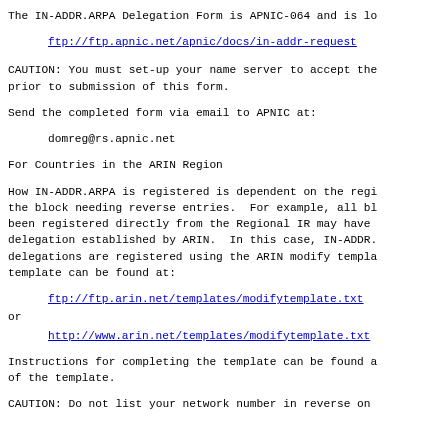The IN-ADDR.ARPA Delegation Form is APNIC-064 and is lo
ftp://ftp.apnic.net/apnic/docs/in-addr-request
CAUTION: You must set-up your name server to accept the
prior to submission of this form.
Send the completed form via email to APNIC at:
domreg@rs.apnic.net
For Countries in the ARIN Region
How IN-ADDR.ARPA is registered is dependent on the regi
the block needing reverse entries.  For example, all bl
been registered directly from the Regional IR may have 
delegation established by ARIN.  In this case, IN-ADDR.
delegations are registered using the ARIN modify templa
template can be found at:
ftp://ftp.arin.net/templates/modifytemplate.txt
or
http://www.arin.net/templates/modifytemplate.txt
Instructions for completing the template can be found a
of the template.
CAUTION: Do not list your network number in reverse on